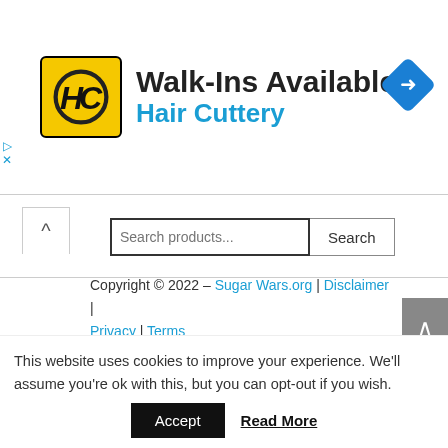[Figure (logo): Hair Cuttery advertisement banner with HC logo on yellow background, text 'Walk-Ins Available' and 'Hair Cuttery' in blue, blue diamond navigation icon top right]
Search products...
Copyright © 2022 – Sugar Wars.org | Disclaimer | Privacy | Terms
This website uses cookies to improve your experience. We'll assume you're ok with this, but you can opt-out if you wish.
Accept  Read More